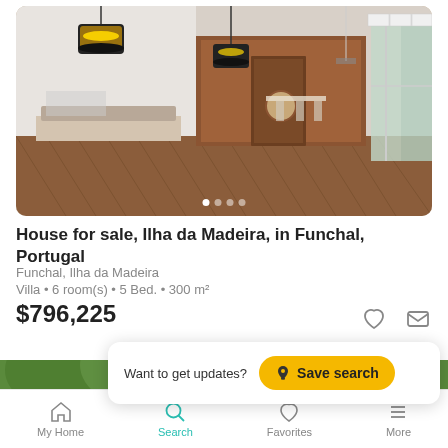[Figure (photo): Interior photo of a house room with wooden walls, pendant lights, herringbone floor, and glass doors to a garden.]
House for sale, Ilha da Madeira, in Funchal, Portugal
Funchal, Ilha da Madeira
Villa • 6 room(s) • 5 Bed. • 300 m²
$796,225
Want to get updates?  Save search
[Figure (photo): Partially visible outdoor photo with trees and greenery.]